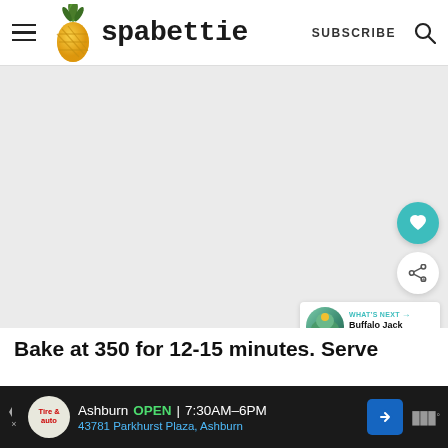[Figure (screenshot): Spabettie website header with hamburger menu, pineapple logo, site name 'spabettie', SUBSCRIBE link, and search icon]
[Figure (photo): Large main image area (appears blank/loading) with floating heart favorite button in teal, share button in white, and 'What's Next' card showing 'Buffalo Jack Avocado...']
Bake at 350 for 12-15 minutes. Serve
[Figure (screenshot): Advertisement bar at bottom: Tire & Auto logo, Ashburn OPEN 7:30AM-6PM, 43781 Parkhurst Plaza Ashburn, blue direction arrow, and W icon]